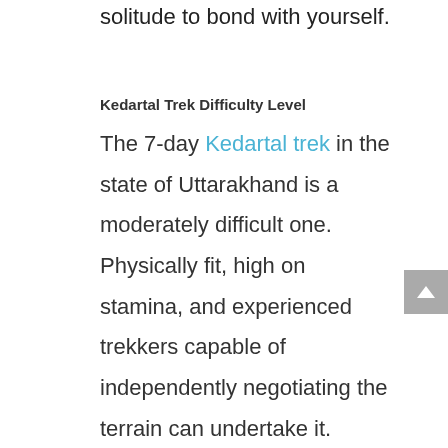solitude to bond with yourself.
Kedartal Trek Difficulty Level
The 7-day Kedartal trek in the state of Uttarakhand is a moderately difficult one. Physically fit, high on stamina, and experienced trekkers capable of independently negotiating the terrain can undertake it. Sharp inclines, scree, boulders, the altitude of over 15,000 ft., and covering all this within 5 days without much break can test you well.